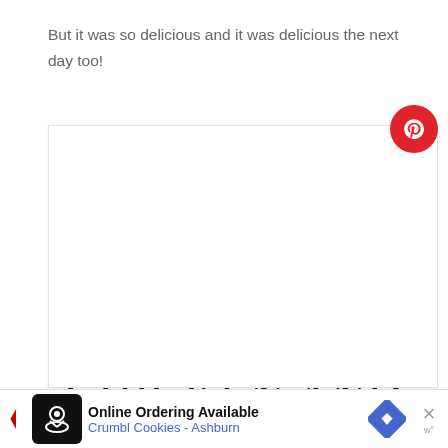But it was so delicious and it was delicious the next day too!
YIELD: 2
15-MINUTE HEALTHY CHICKEN AND BLACK BEANS
[Figure (logo): Pinterest button - red circle with white Pinterest P logo]
[Figure (infographic): Advertisement bar: Online Ordering Available - Crumbl Cookies - Ashburn, with chef logo and blue diamond arrow icon]